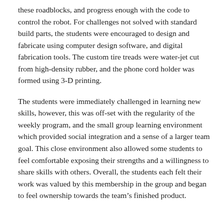these roadblocks, and progress enough with the code to control the robot. For challenges not solved with standard build parts, the students were encouraged to design and fabricate using computer design software, and digital fabrication tools. The custom tire treads were water-jet cut from high-density rubber, and the phone cord holder was formed using 3-D printing.
The students were immediately challenged in learning new skills, however, this was off-set with the regularity of the weekly program, and the small group learning environment which provided social integration and a sense of a larger team goal. This close environment also allowed some students to feel comfortable exposing their strengths and a willingness to share skills with others. Overall, the students each felt their work was valued by this membership in the group and began to feel ownership towards the team's finished product.